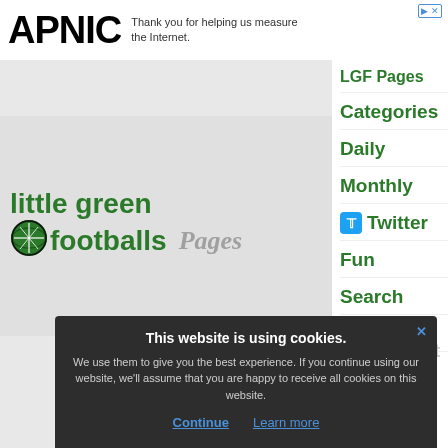[Figure (logo): APNIC logo text in bold black with partial cutoff on right side, next to text 'Thank you for helping us measure the Internet.']
[Figure (logo): Little green footballs logo with green football SVG icon and text 'little green footballs' in green, followed by grey italic 'Pages' text]
LGF Pages
Categories
Daily
Monthly
Twitter
Fun
Search
About
This website is using cookies.
We use them to give you the best experience. If you continue using our website, we'll assume that you are happy to receive all cookies on this website.
Continue  Learn more